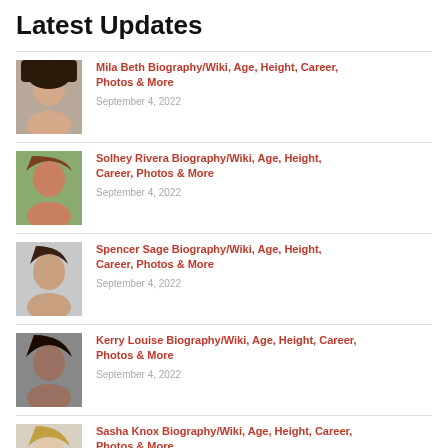Latest Updates
Mila Beth Biography/Wiki, Age, Height, Career, Photos & More
September 4, 2022
Solhey Rivera Biography/Wiki, Age, Height, Career, Photos & More
September 4, 2022
Spencer Sage Biography/Wiki, Age, Height, Career, Photos & More
September 4, 2022
Kerry Louise Biography/Wiki, Age, Height, Career, Photos & More
September 4, 2022
Sasha Knox Biography/Wiki, Age, Height, Career, Photos & More